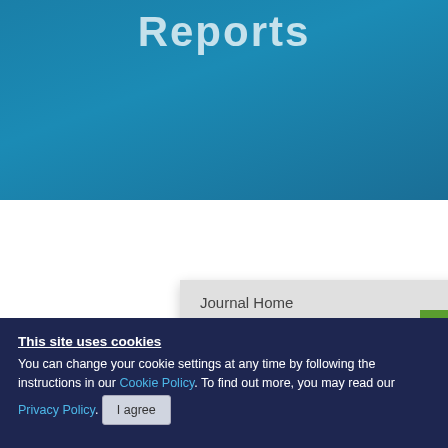Reports
Journal Home
Current Issue
Forthcoming Issue
Special Issues
Most Read
Most Cited
Mecha... in g...
Authors: Huang
View Affil...
This site uses cookies
You can change your cookie settings at any time by following the instructions in our Cookie Policy. To find out more, you may read our Privacy Policy.